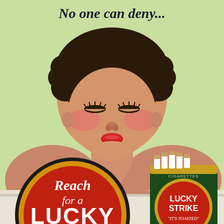[Figure (illustration): Vintage Lucky Strike cigarette advertisement. Light green background. At top in dark italic script text: 'No one can deny...' Below, a vintage illustrated woman with dark curly hair, rosy cheeks, red lips, eyes closed, wearing a lavender/purple bra strap, leaning forward with arms crossed on a ledge. Bottom left: large black circle with red interior showing 'Reach for a LUCKY' text in white. Bottom right: a green Lucky Strike cigarette pack with red circle logo reading 'LUCKY STRIKE' and tagline '"IT'S TOASTED"', with white cigarettes visible at top of pack.]